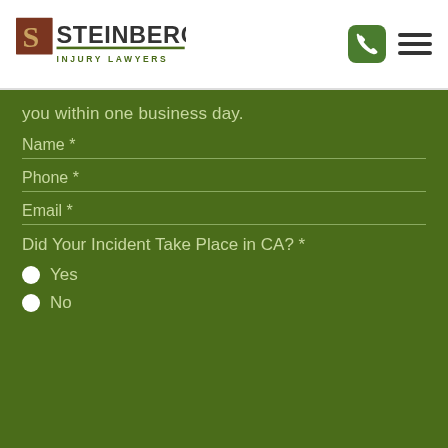[Figure (logo): Steinberg Injury Lawyers logo with stylized S icon in dark red/brown and green, with 'INJURY LAWYERS' text below in green]
you within one business day.
Name *
Phone *
Email *
Did Your Incident Take Place in CA? *
Yes
No